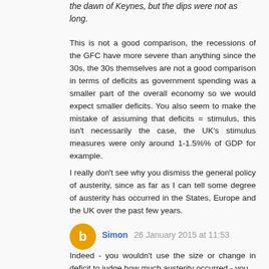the dawn of Keynes, but the dips were not as long.
This is not a good comparison, the recessions of the GFC have more severe than anything since the 30s, the 30s themselves are not a good comparison in terms of deficits as government spending was a smaller part of the overall economy so we would expect smaller deficits. You also seem to make the mistake of assuming that deficits = stimulus, this isn't necessarily the case, the UK's stimulus measures were only around 1-1.5%% of GDP for example.
I really don't see why you dismiss the general policy of austerity, since as far as I can tell some degree of austerity has occurred in the States, Europe and the UK over the past few years.
Simon 26 January 2015 at 11:53
Indeed - you wouldn't use the size or change in deficit to judge how much austerity occurred - you